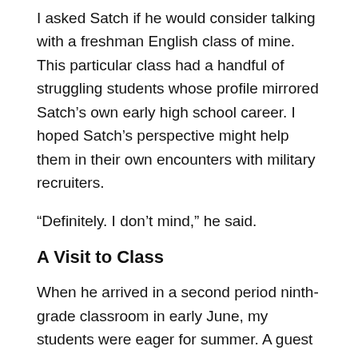I asked Satch if he would consider talking with a freshman English class of mine. This particular class had a handful of struggling students whose profile mirrored Satch’s own early high school career. I hoped Satch’s perspective might help them in their own encounters with military recruiters.
“Definitely. I don’t mind,” he said.
A Visit to Class
When he arrived in a second period ninth-grade classroom in early June, my students were eager for summer. A guest speaker was